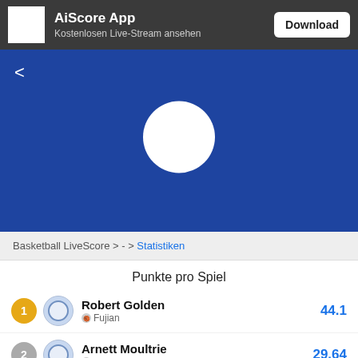[Figure (screenshot): AiScore App banner with logo, subtitle 'Kostenlosen Live-Stream ansehen' and Download button]
[Figure (screenshot): Blue background area with back arrow and white loading circle]
Basketball LiveScore > - > Statistiken
Punkte pro Spiel
1 Robert Golden - Fujian - 44.1
2 Arnett Moultrie - Xinjiang - 29.64
3 Dominique Jones